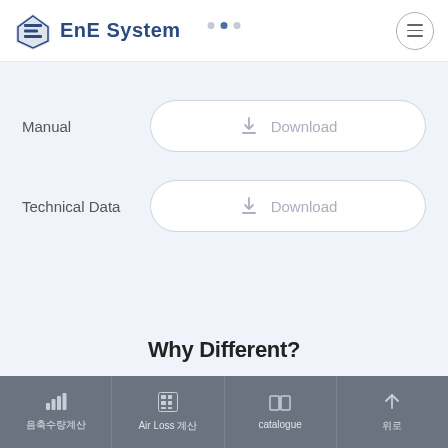EnE System
Manual
Download
Technical Data
Download
Why Different?
음축수량계산 | Air Loss 계산 | catalogue | 위로